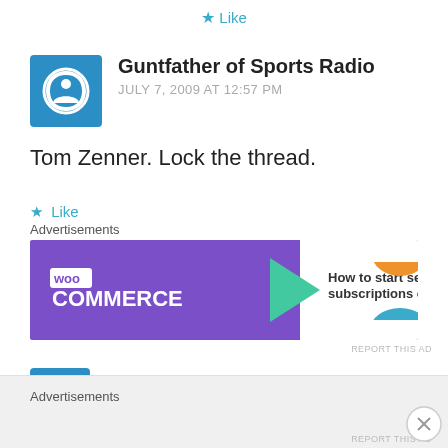★ Like
Guntfather of Sports Radio
JULY 7, 2009 AT 12:57 PM
Tom Zenner. Lock the thread.
★ Like
Advertisements
[Figure (other): WooCommerce advertisement banner: purple background with WooCommerce logo on left, green arrow pointing right, text 'How to start selling subscriptions online', orange and blue decorative shapes on right]
REPORT THIS AD
NASCL
Advertisements
REPORT THIS AD